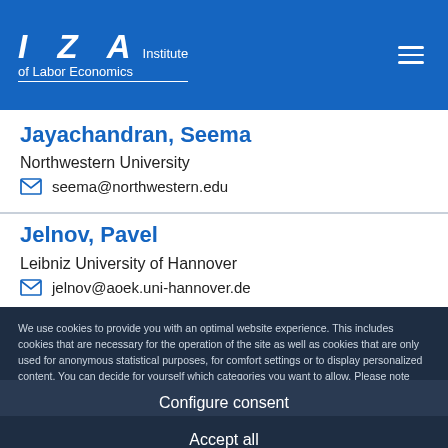IZA Institute of Labor Economics
Jayachandran, Seema
Northwestern University
seema@northwestern.edu
Jelnov, Pavel
Leibniz University of Hannover
jelnov@aoek.uni-hannover.de
We use cookies to provide you with an optimal website experience. This includes cookies that are necessary for the operation of the site as well as cookies that are only used for anonymous statistical purposes, for comfort settings or to display personalized content. You can decide for yourself which categories you want to allow. Please note that based on your settings, you may not be able to use all of the site's functions.
Configure consent
Accept all
nje@econ.au.dk